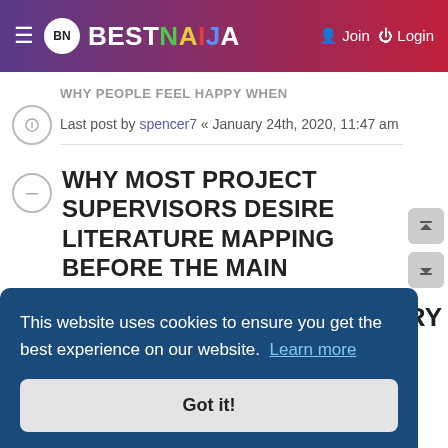BESTNAIJA — Join Login
Last post by spencer7 « January 24th, 2020, 11:47 am
WHY MOST PROJECT SUPERVISORS DESIRE LITERATURE MAPPING BEFORE THE MAIN PROJECT
Last post by spencer7 « January 17th,
This website uses cookies to ensure you get the best experience on our website. Learn more
Got it!
RY
Last post by spencer7 « January 11th, 2020,